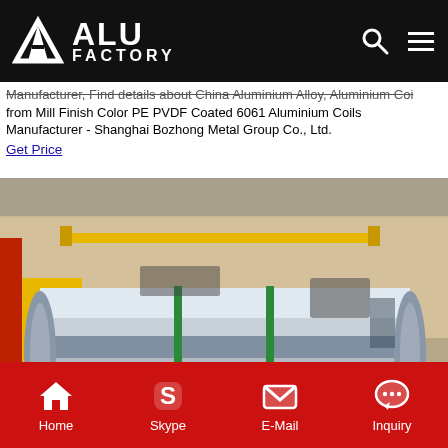[Figure (logo): ALU FACTORY logo with white triangle/A icon on black background, with search and menu icons on right]
Manufacturer, Find details about China Aluminium Alloy, Aluminium Coil from Mill Finish Color PE PVDF Coated 6061 Aluminium Coils Manufacturer - Shanghai Bozhong Metal Group Co., Ltd.
Get Price
[Figure (photo): Large silver aluminium coil on wooden pallet in industrial factory warehouse, strapped with green bands]
Home | Skype | E-Mail | Inquiry